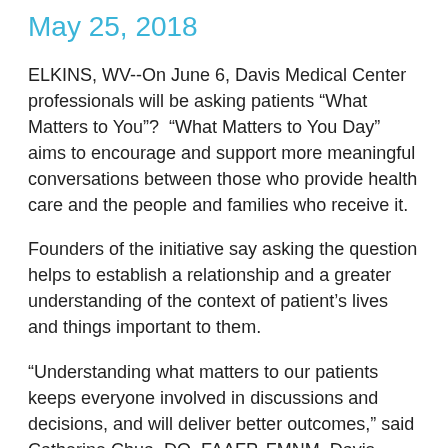May 25, 2018
ELKINS, WV--On June 6, Davis Medical Center professionals will be asking patients “What Matters to You”?  “What Matters to You Day” aims to encourage and support more meaningful conversations between those who provide health care and the people and families who receive it.
Founders of the initiative say asking the question helps to establish a relationship and a greater understanding of the context of patient’s lives and things important to them.
“Understanding what matters to our patients keeps everyone involved in discussions and decisions, and will deliver better outcomes,” said Catherine Chua, DO, FAAFP, FMNM, Davis Health System